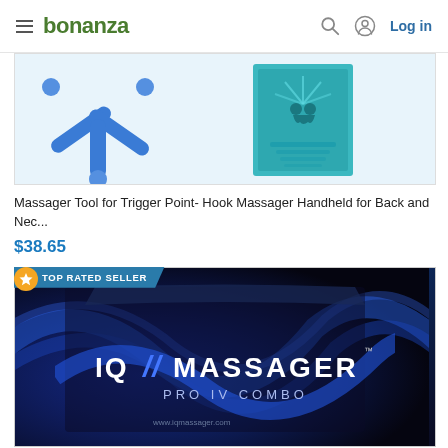bonanza  Log in
[Figure (photo): Product listing image showing a blue Y-shaped trigger point massager tool and a teal book cover with two figures playing tennis]
Massager Tool for Trigger Point- Hook Massager Handheld for Back and Nec...
$38.65
[Figure (photo): Product listing image showing IQ Massager Pro IV Combo box - dark navy/black packaging with blue wave design and white text logo]
TOP RATED SELLER